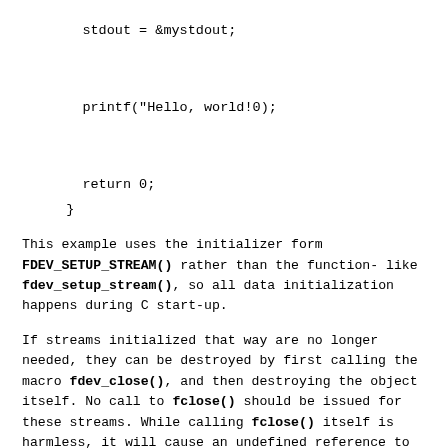stdout = &mystdout;


    printf("Hello, world!0);


    return 0;
  }
This example uses the initializer form FDEV_SETUP_STREAM() rather than the function-like fdev_setup_stream(), so all data initialization happens during C start-up.
If streams initialized that way are no longer needed, they can be destroyed by first calling the macro fdev_close(), and then destroying the object itself. No call to fclose() should be issued for these streams. While calling fclose() itself is harmless, it will cause an undefined reference to free()